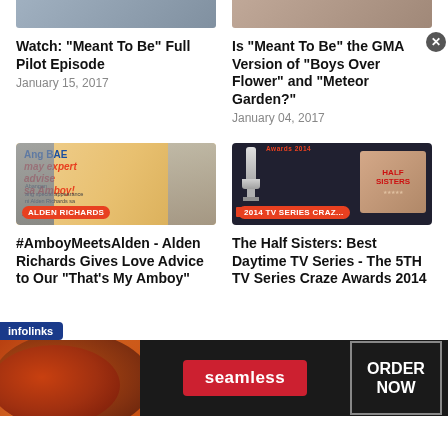[Figure (photo): Partial thumbnail image of Meant To Be show, cropped at top]
[Figure (photo): Partial thumbnail image of GMA show, cropped at top]
Watch: "Meant To Be" Full Pilot Episode
January 15, 2017
Is "Meant To Be" the GMA Version of "Boys Over Flower" and "Meteor Garden?"
January 04, 2017
[Figure (photo): Promotional image for Amboy show featuring Alden Richards with badge ALDEN RICHARDS]
[Figure (photo): Half Sisters award show image with badge 2014 TV SERIES CRAZ...]
#AmboyMeetsAlden - Alden Richards Gives Love Advice to Our "That's My Amboy"
The Half Sisters: Best Daytime TV Series - The 5TH TV Series Craze Awards 2014
[Figure (photo): Seamless food ordering advertisement banner with pizza image, Seamless logo, and ORDER NOW button]